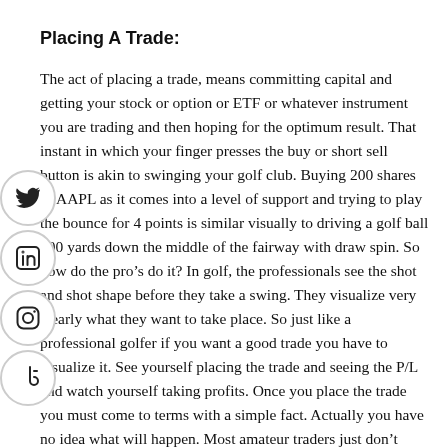Placing A Trade:
[Figure (other): Social media share icons: Twitter, LinkedIn, Instagram, TikTok arranged vertically on the left side margin]
The act of placing a trade, means committing capital and getting your stock or option or ETF or whatever instrument you are trading and then hoping for the optimum result. That instant in which your finger presses the buy or short sell button is akin to swinging your golf club. Buying 200 shares of AAPL as it comes into a level of support and trying to play the bounce for 4 points is similar visually to driving a golf ball 290 yards down the middle of the fairway with draw spin. So how do the pro’s do it? In golf, the professionals see the shot and shot shape before they take a swing. They visualize very clearly what they want to take place. So just like a professional golfer if you want a good trade you have to visualize it. See yourself placing the trade and seeing the P/L and watch yourself taking profits. Once you place the trade you must come to terms with a simple fact. Actually you have no idea what will happen. Most amateur traders just don’t want to admit this simple fact. Nobody knows the future. So just like the pro’s in